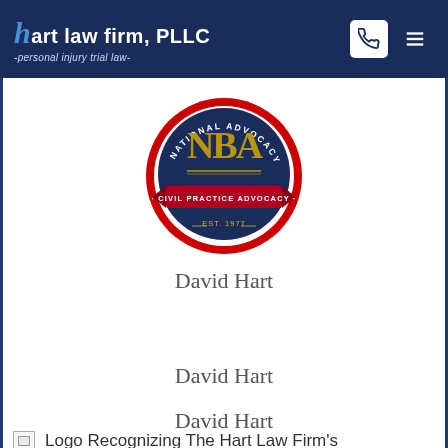hart law firm, PLLC -personal injury trial law-
[Figure (logo): National civil practice advocacy badge/seal logo, circular with NBA letters in gold on dark navy background, red banner reading CIVIL PRACTICE ADVOCACY, Est. 1977]
David Hart
David Hart
David Hart
Logo Recognizing The Hart Law Firm's